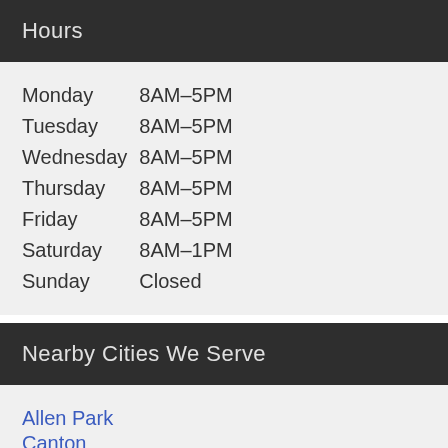Hours
| Day | Hours |
| --- | --- |
| Monday | 8AM–5PM |
| Tuesday | 8AM–5PM |
| Wednesday | 8AM–5PM |
| Thursday | 8AM–5PM |
| Friday | 8AM–5PM |
| Saturday | 8AM–1PM |
| Sunday | Closed |
Nearby Cities We Serve
Allen Park
Canton